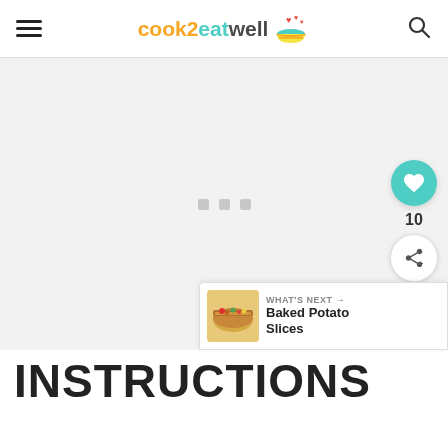cook2eatwell
[Figure (other): Large blank/loading advertisement or image area with three small gray placeholder squares in the center]
[Figure (other): Floating teal heart button showing 10 likes, and a share button below it]
[Figure (other): What's Next banner showing a thumbnail of Baked Potato Slices]
INSTRUCTIONS